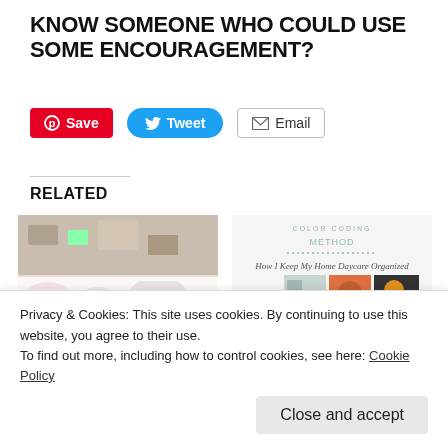KNOW SOMEONE WHO COULD USE SOME ENCOURAGEMENT?
[Figure (infographic): Social sharing buttons: Save (Pinterest, red), Tweet (Twitter, blue), Email (grey border)]
RELATED
[Figure (photo): Article card: When Clutter Sends You Running For Cover - photo of cluttered room with flowers]
When Clutter Sends You Running For Cover
[Figure (photo): Article card: Color Coding Method: How I Organize My Home - image showing organized items]
Color Coding Method: How I Organize My Home
Privacy & Cookies: This site uses cookies. By continuing to use this website, you agree to their use.
To find out more, including how to control cookies, see here: Cookie Policy
Close and accept